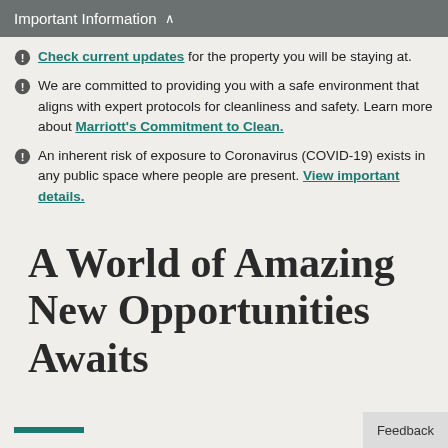Important Information ∧
Check current updates for the property you will be staying at.
We are committed to providing you with a safe environment that aligns with expert protocols for cleanliness and safety. Learn more about Marriott's Commitment to Clean.
An inherent risk of exposure to Coronavirus (COVID-19) exists in any public space where people are present. View important details.
A World of Amazing New Opportunities Awaits